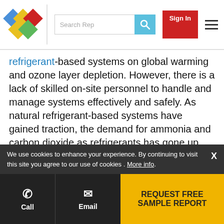Search Rep | Sign In | Navigation menu
refrigerant-based systems on global warming and ozone layer depletion. However, there is a lack of skilled on-site personnel to handle and manage systems effectively and safely. As natural refrigerant-based systems have gained traction, the demand for ammonia and carbon dioxide as refrigerants has gone up significantly. This increase in demand is because these refrigerants have zero ODP and low GWP. However, ammonia is also regarded as a poisonous gas, and its accidental leakage in facilities can lead to severe industrial accidents. Furthermore, exposure to lower concentrations of ammonia can lead to temporary blindness, eye damage, skin diseases, or pulmonary ...els ...at ...al. Also, the knowl...edge of such gases can
We use cookies to enhance your experience. By continuing to visit this site you agree to our use of cookies . More info.
Call | Email | REQUEST FREE SAMPLE REPORT